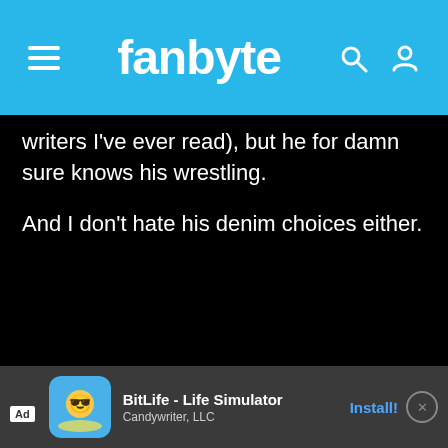fanbyte
writers I've ever read), but he for damn sure knows his wrestling.

And I don't hate his denim choices either.
[Figure (screenshot): Ad banner for BitLife - Life Simulator by Candywriter, LLC with Install button]